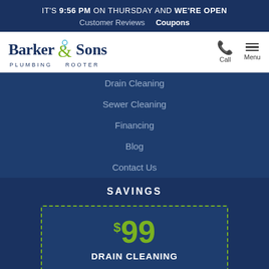IT'S 9:56 PM ON THURSDAY AND WE'RE OPEN
Customer Reviews   Coupons
[Figure (logo): Barker & Sons Plumbing Rooter logo with phone call and menu icons]
Drain Cleaning
Sewer Cleaning
Financing
Blog
Contact Us
SAVINGS
$99 DRAIN CLEANING
This applies to first time residential customers during regular business hours, main lines thru and accessible outside clean-out, cabling only, homeowners must be present (no...